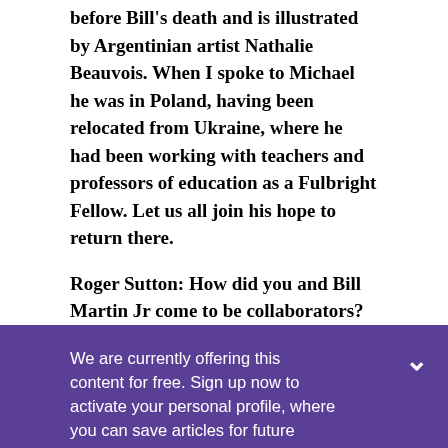before Bill's death and is illustrated by Argentinian artist Nathalie Beauvois. When I spoke to Michael he was in Poland, having been relocated from Ukraine, where he had been working with teachers and professors of education as a Fulbright Fellow. Let us all join his hope to return there.
Roger Sutton: How did you and Bill Martin Jr come to be collaborators?
We are currently offering this content for free. Sign up now to activate your personal profile, where you can save articles for future viewing.
CREATE AN ACCOUNT
ALREADY A SUBSCRIBER? LOG IN